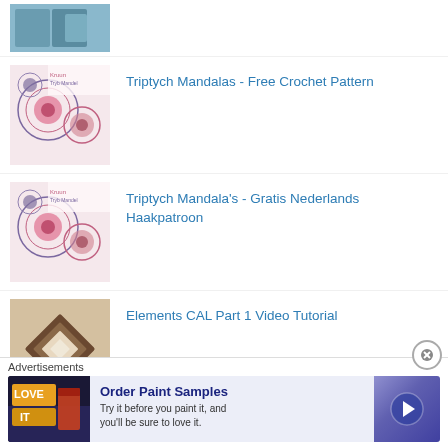[Figure (photo): Partial thumbnail of a craft/crochet related item, cut off at top]
Triptych Mandalas - Free Crochet Pattern
Triptych Mandala's - Gratis Nederlands Haakpatroon
Elements CAL Part 1 Video Tutorial
Crochet abbreviations & difference between US and
Advertisements
[Figure (photo): Advertisement: Order Paint Samples - Try it before you paint it, and you'll be sure to love it.]